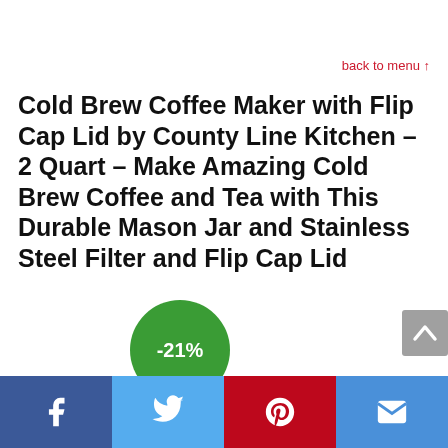back to menu ↑
Cold Brew Coffee Maker with Flip Cap Lid by County Line Kitchen – 2 Quart – Make Amazing Cold Brew Coffee and Tea with This Durable Mason Jar and Stainless Steel Filter and Flip Cap Lid
[Figure (infographic): Green circular discount badge showing -21%]
[Figure (infographic): Gray scroll-to-top button with upward chevron arrow]
[Figure (infographic): Footer bar with four social sharing buttons: Facebook (blue), Twitter (light blue), Pinterest (red), Email (blue)]